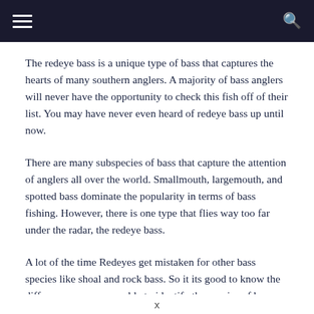Navigation bar with hamburger menu and search icon
The redeye bass is a unique type of bass that captures the hearts of many southern anglers. A majority of bass anglers will never have the opportunity to check this fish off of their list. You may have never even heard of redeye bass up until now.
There are many subspecies of bass that capture the attention of anglers all over the world. Smallmouth, largemouth, and spotted bass dominate the popularity in terms of bass fishing. However, there is one type that flies way too far under the radar, the redeye bass.
A lot of the time Redeyes get mistaken for other bass species like shoal and rock bass. So it its good to know the differences so you are able to identify the species of bass that you have
x